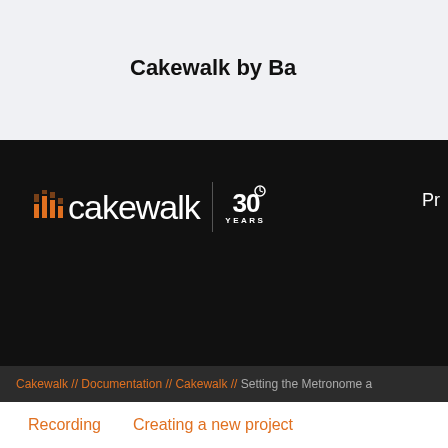Cakewalk by Ba
[Figure (logo): Cakewalk 30 Years logo on black navigation bar with 'Pr' text visible at right]
Cakewalk // Documentation // Cakewalk // Setting the Metronome a
Recording    Creating a new project